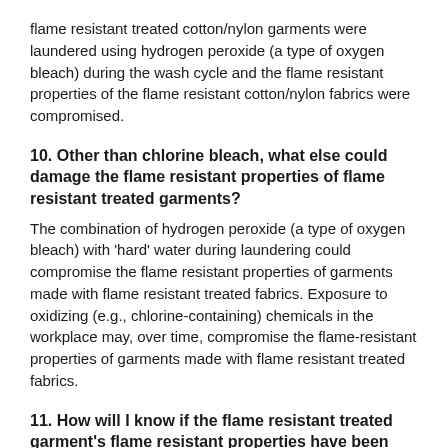flame resistant treated cotton/nylon garments were laundered using hydrogen peroxide (a type of oxygen bleach) during the wash cycle and the flame resistant properties of the flame resistant cotton/nylon fabrics were compromised.
10. Other than chlorine bleach, what else could damage the flame resistant properties of flame resistant treated garments?
The combination of hydrogen peroxide (a type of oxygen bleach) with 'hard' water during laundering could compromise the flame resistant properties of garments made with flame resistant treated fabrics. Exposure to oxidizing (e.g., chlorine-containing) chemicals in the workplace may, over time, compromise the flame-resistant properties of garments made with flame resistant treated fabrics.
11. How will I know if the flame resistant treated garment's flame resistant properties have been compromised?
Without performing destructive testing, such as vertical flammability testing, you would not know. This is be